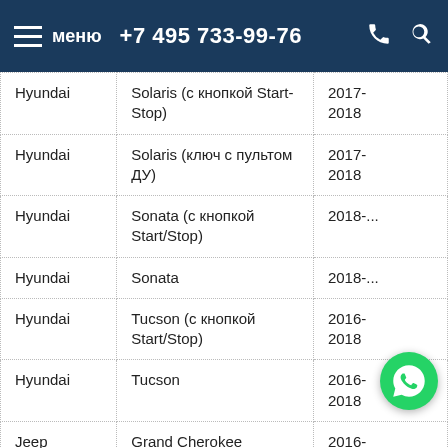меню  +7 495 733-99-76
|  |  |  |
| --- | --- | --- |
| Hyundai | Solaris (с кнопкой Start-Stop) | 2017-2018 |
| Hyundai | Solaris (ключ с пультом ДУ) | 2017-2018 |
| Hyundai | Sonata (с кнопкой Start/Stop) | 2018-... |
| Hyundai | Sonata | 2018-... |
| Hyundai | Tucson (с кнопкой Start/Stop) | 2016-2018 |
| Hyundai | Tucson | 2016-2018 |
| Jeep | Grand Cherokee | 2016-2018 |